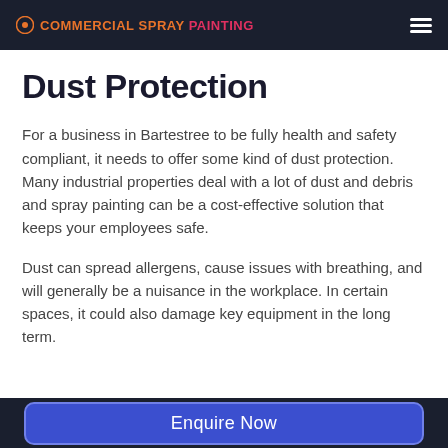COMMERCIALSPRAYPAINTING
Dust Protection
For a business in Bartestree to be fully health and safety compliant, it needs to offer some kind of dust protection. Many industrial properties deal with a lot of dust and debris and spray painting can be a cost-effective solution that keeps your employees safe.
Dust can spread allergens, cause issues with breathing, and will generally be a nuisance in the workplace. In certain spaces, it could also damage key equipment in the long term.
Enquire Now